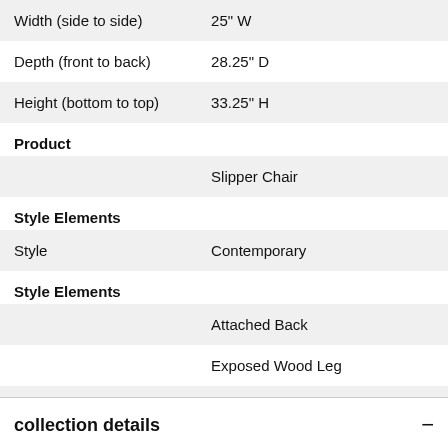| Width (side to side) | 25" W |
| Depth (front to back) | 28.25" D |
| Height (bottom to top) | 33.25" H |
Product
|  | Slipper Chair |
Style Elements
| Style | Contemporary |
Style Elements
|  | Attached Back |
|  | Exposed Wood Leg |
|  | Tapered Leg |
collection details